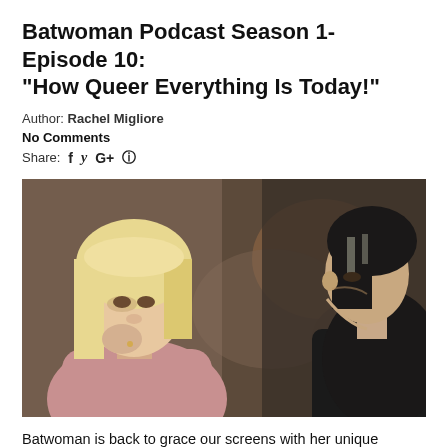Batwoman Podcast Season 1- Episode 10: "How Queer Everything Is Today!"
Author: Rachel Migliore
No Comments
Share: f  y  G+  @
[Figure (photo): Two characters facing each other: a blonde woman in a pink hoodie on the left and a dark-haired person in a dark jacket on the right, in a dimly lit outdoor setting.]
Batwoman is back to grace our screens with her unique